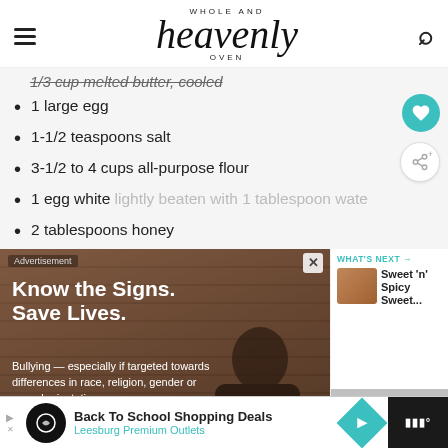WHOLE AND heavenly OVEN
1/3 cup melted butter, cooled (strikethrough)
1 large egg
1-1/2 teaspoons salt
3-1/2 to 4 cups all-purpose flour
1 egg white lightly beaten with 1 tablespoon water
2 tablespoons honey
[Figure (photo): Advertisement: Know the Signs. Save Lives. Anti-bullying PSA with person sitting against brick wall. Text: Bullying — especially if targeted towards differences in race, religion, gender or sexual orientation — can be a sign of potential violence.]
[Figure (photo): WHAT'S NEXT panel with food image thumbnail — Sweet 'n' Spicy Sweet...]
[Figure (infographic): Bottom banner ad: Back To School Shopping Deals, Leesburg Premium Outlets]